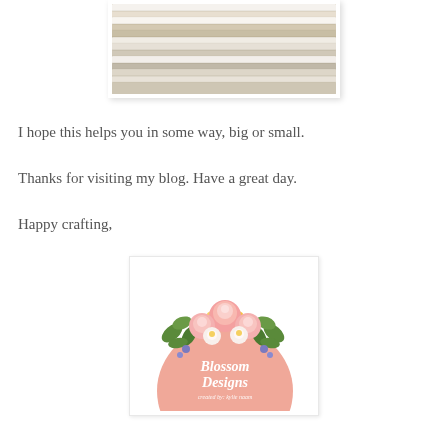[Figure (photo): Close-up photo of wooden craft sticks/dowels bundled together, showing their cross-sections and lengths with white and natural wood tones]
I hope this helps you in some way, big or small.
Thanks for visiting my blog. Have a great day.
Happy crafting,
[Figure (logo): Blossom Designs logo created by Kylie Naam — pink circle with floral watercolor arrangement on top and white italic script text reading Blossom Designs created by kylie naam]